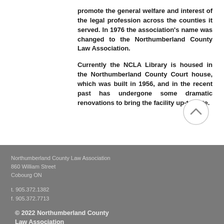promote the general welfare and interest of the legal profession across the counties it served. In 1976 the association's name was changed to the Northumberland County Law Association.
Currently the NCLA Library is housed in the Northumberland County Court house, which was built in 1956, and in the recent past has undergone some dramatic renovations to bring the facility up-to-date.
Northumberland County Law Association
860 William Street
Cobourg ON

t. 905.372.1382
f. 905.372.7713

© 2022 Northumberland County Law Association